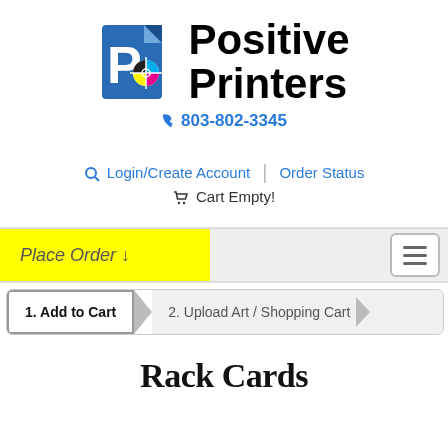[Figure (logo): Positive Printers logo with blue document icon containing a P and CMYK crosshair target, alongside bold text 'Positive Printers']
803-802-3345
Login/Create Account | Order Status
Cart Empty!
Place Order ↓
1. Add to Cart   2. Upload Art / Shopping Cart
Rack Cards